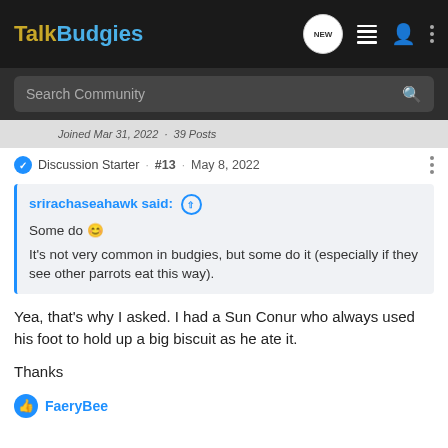TalkBudgies
Search Community
Joined Mar 31, 2022 · 39 Posts
Discussion Starter · #13 · May 8, 2022
srirachaseahawk said:
Some do 🙂
It's not very common in budgies, but some do it (especially if they see other parrots eat this way).
Yea, that's why I asked. I had a Sun Conur who always used his foot to hold up a big biscuit as he ate it.
Thanks
FaeryBee